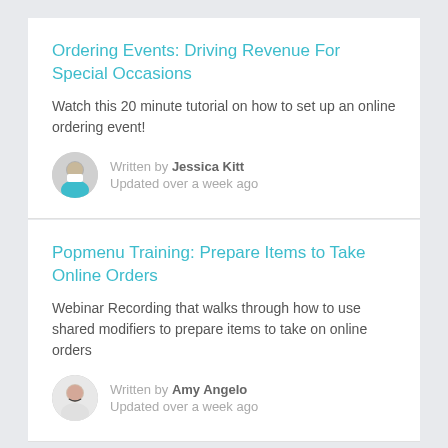Ordering Events: Driving Revenue For Special Occasions
Watch this 20 minute tutorial on how to set up an online ordering event!
Written by Jessica Kitt
Updated over a week ago
Popmenu Training: Prepare Items to Take Online Orders
Webinar Recording that walks through how to use shared modifiers to prepare items to take on online orders
Written by Amy Angelo
Updated over a week ago